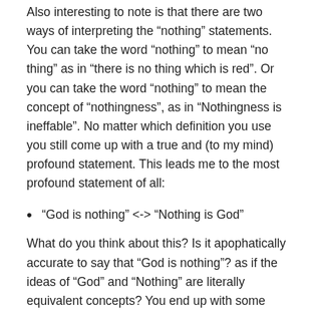Also interesting to note is that there are two ways of interpreting the “nothing” statements. You can take the word “nothing” to mean “no thing” as in “there is no thing which is red”. Or you can take the word “nothing” to mean the concept of “nothingness”, as in “Nothingness is ineffable”. No matter which definition you use you still come up with a true and (to my mind) profound statement. This leads me to the most profound statement of all:
“God is nothing” <-> “Nothing is God”
What do you think about this? Is it apophatically accurate to say that “God is nothing”? as if the ideas of “God” and “Nothing” are literally equivalent concepts? You end up with some more interesting sentences: